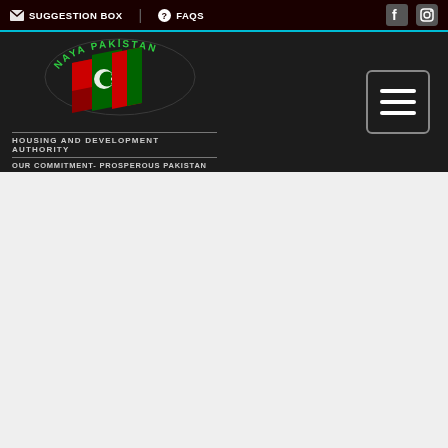SUGGESTION BOX | FAQS
[Figure (logo): Naya Pakistan Housing and Development Authority logo with Pakistani flag motif and crescent/star symbol, text: NAYA PAKISTAN, HOUSING AND DEVELOPMENT AUTHORITY, OUR COMMITMENT- PROSPEROUS PAKISTAN]